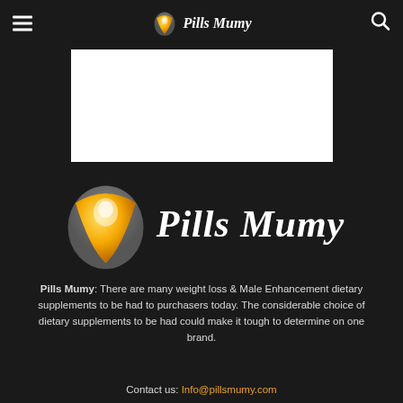Pills Mumy
[Figure (logo): Pills Mumy logo with pill/capsule icon and italic bold text 'Pills Mumy']
[Figure (photo): White rectangular image placeholder]
[Figure (logo): Large Pills Mumy logo with pill/capsule icon and large bold italic text 'Pills Mumy']
Pills Mumy: There are many weight loss & Male Enhancement dietary supplements to be had to purchasers today. The considerable choice of dietary supplements to be had could make it tough to determine on one brand.
Contact us: Info@pillsmumy.com